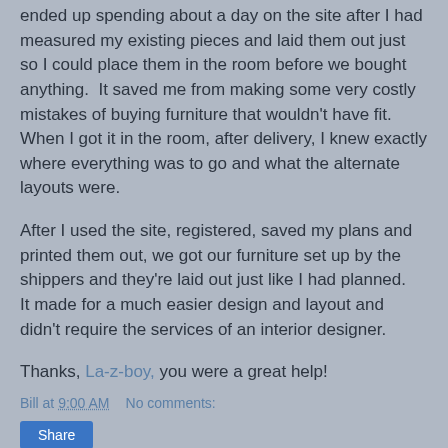ended up spending about a day on the site after I had measured my existing pieces and laid them out just so I could place them in the room before we bought anything.   It saved me from making some very costly mistakes of buying furniture that wouldn't have fit.   When I got it in the room, after delivery, I knew exactly where everything was to go and what the alternate layouts were.
After I used the site, registered, saved my plans and printed them out, we got our furniture set up by the shippers and they're laid out just like I had planned.   It made for a much easier design and layout and didn't require the services of an interior designer.
Thanks, La-z-boy, you were a great help!
Bill at 9:00 AM    No comments:
Share
SATURDAY, SEPTEMBER 19, 2009